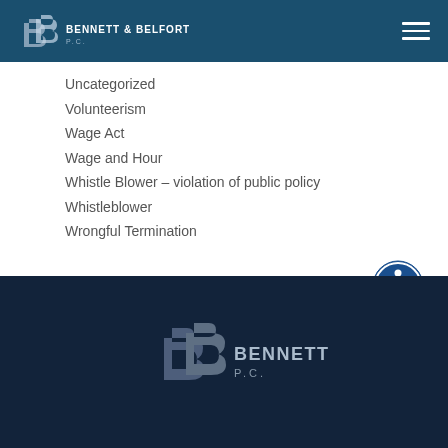Bennett & Belfort P.C.
Uncategorized
Volunteerism
Wage Act
Wage and Hour
Whistle Blower – violation of public policy
Whistleblower
Wrongful Termination
[Figure (logo): Bennett & Belfort P.C. logo in footer, white/light text on dark navy background]
Bennett & Belfort P.C.